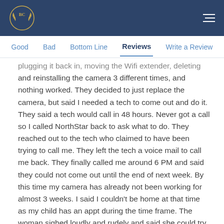BC [logo] [hamburger menu]
Good  Bad  Bottom Line  Reviews  Write a Review
plugging it back in, moving the Wifi extender, deleting and reinstalling the camera 3 different times, and nothing worked. They decided to just replace the camera, but said I needed a tech to come out and do it. They said a tech would call in 48 hours. Never got a call so I called NorthStar back to ask what to do. They reached out to the tech who claimed to have been trying to call me. They left the tech a voice mail to call me back. They finally called me around 6 PM and said they could not come out until the end of next week. By this time my camera has already not been working for almost 3 weeks. I said I couldn't be home at that time as my child has an appt during the time frame. The woman sighed loudly and rudely and said she could try for a Saturday appt but would have to call